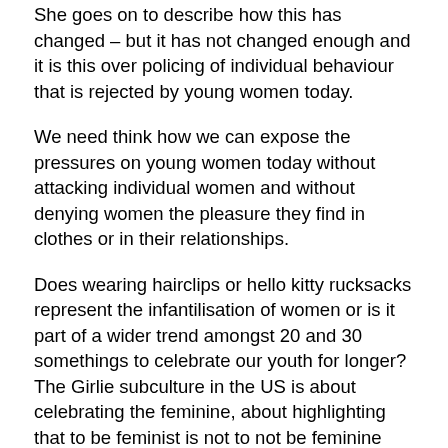She goes on to describe how this has changed – but it has not changed enough and it is this over policing of individual behaviour that is rejected by young women today.
We need think how we can expose the pressures on young women today without attacking individual women and without denying women the pleasure they find in clothes or in their relationships.
Does wearing hairclips or hello kitty rucksacks represent the infantilisation of women or is it part of a wider trend amongst 20 and 30 somethings to celebrate our youth for longer? The Girlie subculture in the US is about celebrating the feminine, about highlighting that to be feminist is not to not be feminine and that to be equal does not mean to be the same. The old rules don't always apply and we need to accept that this is ok.
The rejection of the old style “personal is political” is coupled with a rejection of the traditional political altogether. We had the lowest voter turnout in 2001 and in particular low numbers among young women. There is a wider disengagement with politics and policy and our ability to influence it which means